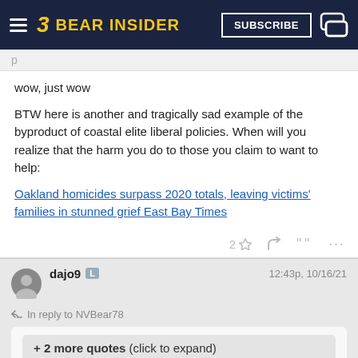BEAR INSIDER
wow, just wow
BTW here is another and tragically sad example of the byproduct of coastal elite liberal policies. When will you realize that the harm you do to those you claim to want to help:
Oakland homicides surpass 2020 totals, leaving victims' families in stunned grief East Bay Times
dajo9  12:43p, 10/16/21
In reply to NVBear78
+ 2 more quotes (click to expand)
dajo9 said: